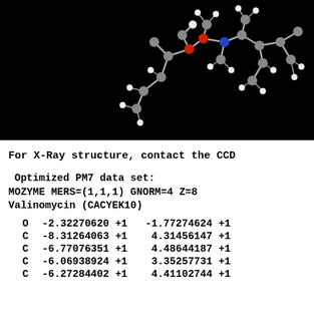[Figure (illustration): 3D ball-and-stick model of Valinomycin molecule against black background, showing gray carbon atoms, white hydrogen atoms, red oxygen atoms, and blue nitrogen atoms connected by bonds]
For X-Ray structure, contact the CCD
Optimized PM7 data set:
MOZYME MERS=(1,1,1) GNORM=4 Z=8
Valinomycin (CACYEK10)
| O | -2.32270620 +1 | -1.77274624 +1 |
| C | -8.31264063 +1 | 4.31456147 +1 |
| C | -6.77076351 +1 | 4.48644187 +1 |
| C | -6.06938924 +1 | 3.35257731 +1 |
| C | -6.27284402 +1 | 4.41102744 +1 |